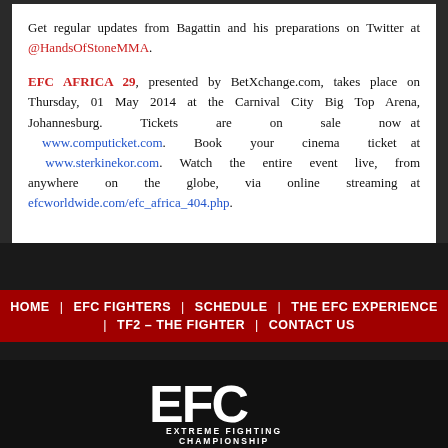Get regular updates from Bagattin and his preparations on Twitter at @HandsOfStoneMMA.
EFC AFRICA 29, presented by BetXchange.com, takes place on Thursday, 01 May 2014 at the Carnival City Big Top Arena, Johannesburg. Tickets are on sale now at www.computicket.com. Book your cinema ticket at www.sterkinekor.com. Watch the entire event live, from anywhere on the globe, via online streaming at efcworldwide.com/efc_africa_404.php.
HOME | EFC FIGHTERS | SCHEDULE | THE EFC EXPERIENCE | TF2 – THE FIGHTER | CONTACT US
[Figure (logo): EFC Extreme Fighting Championship logo in white on dark background]
© Copyright EFC Worldwide 2022 Designed by Druff Interactive